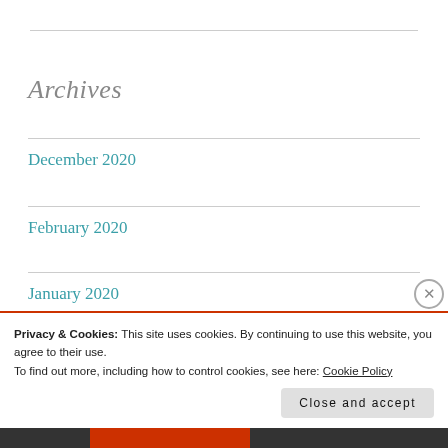Archives
December 2020
February 2020
January 2020
December 2019
Privacy & Cookies: This site uses cookies. By continuing to use this website, you agree to their use.
To find out more, including how to control cookies, see here: Cookie Policy
Close and accept